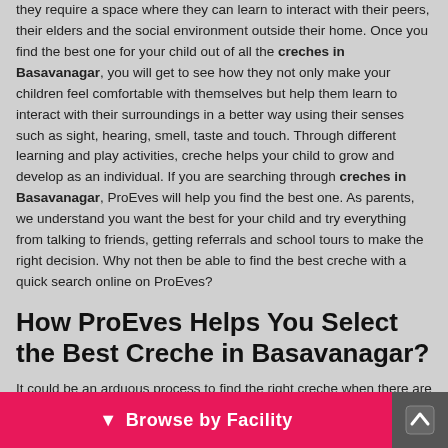they require a space where they can learn to interact with their peers, their elders and the social environment outside their home. Once you find the best one for your child out of all the creches in Basavanagar, you will get to see how they not only make your children feel comfortable with themselves but help them learn to interact with their surroundings in a better way using their senses such as sight, hearing, smell, taste and touch. Through different learning and play activities, creche helps your child to grow and develop as an individual. If you are searching through creches in Basavanagar, ProEves will help you find the best one. As parents, we understand you want the best for your child and try everything from talking to friends, getting referrals and school tours to make the right decision. Why not then be able to find the best creche with a quick search online on ProEves?
How ProEves Helps You Select the Best Creche in Basavanagar?
It could be an arduous process to find the right creche when there are various options but so little information to filter out the right one. It is a crucial decision that one cannot afford to be careless with it. For a parent
Browse by Facility